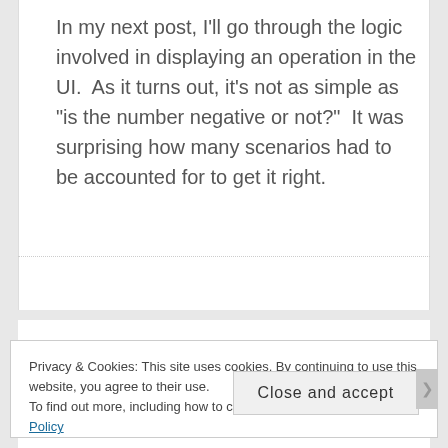In my next post, I'll go through the logic involved in displaying an operation in the UI.  As it turns out, it's not as simple as "is the number negative or not?"  It was surprising how many scenarios had to be accounted for to get it right.
Privacy & Cookies: This site uses cookies. By continuing to use this website, you agree to their use.
To find out more, including how to control cookies, see here: Cookie Policy